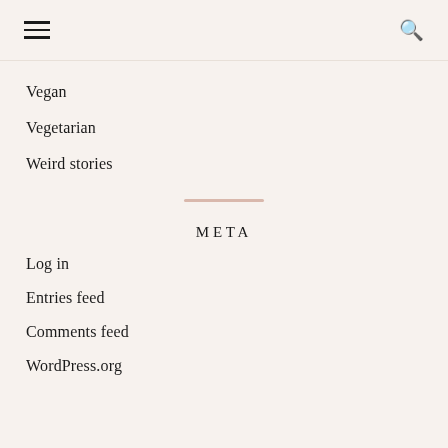≡ [hamburger menu] [search icon]
Vegan
Vegetarian
Weird stories
META
Log in
Entries feed
Comments feed
WordPress.org